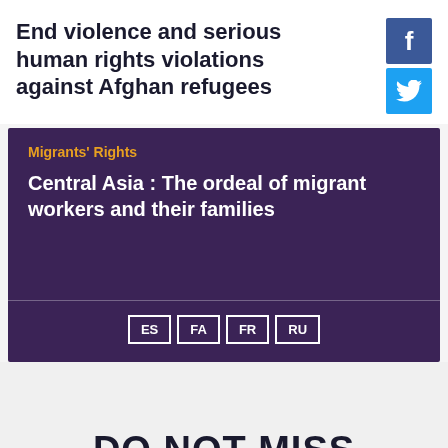End violence and serious human rights violations against Afghan refugees
Migrants' Rights
Central Asia : The ordeal of migrant workers and their families
ES FA FR RU
DO NOT MISS